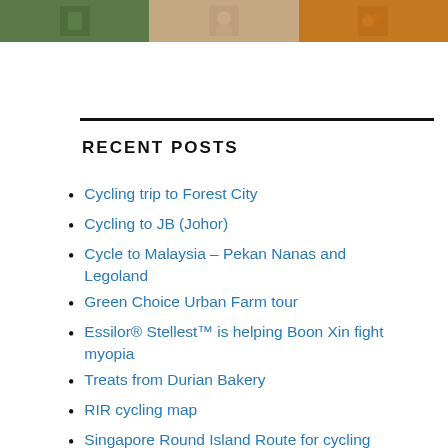[Figure (photo): Three thumbnail photos at the top: a person with green background, a face portrait, and orange/food image]
RECENT POSTS
Cycling trip to Forest City
Cycling to JB (Johor)
Cycle to Malaysia – Pekan Nanas and Legoland
Green Choice Urban Farm tour
Essilor® Stellest™ is helping Boon Xin fight myopia
Treats from Durian Bakery
RIR cycling map
Singapore Round Island Route for cycling
Strava Dinosaur ride 130km